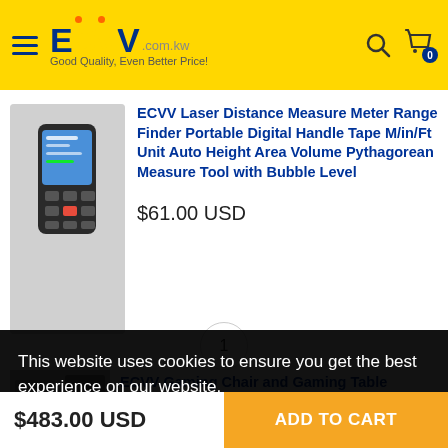ECVV.com.kw — Good Quality, Even Better Price!
ECVV Laser Distance Measure Meter Range Finder Portable Digital Handle Tape M/in/Ft Unit Auto Height Area Volume Pythagorean Measure Tool with Bubble Level
$61.00 USD
ECVV Gaming Chair and Gaming Table
This website uses cookies to ensure you get the best experience on our website.
Learn more
1
$483.00 USD
ADD TO CART